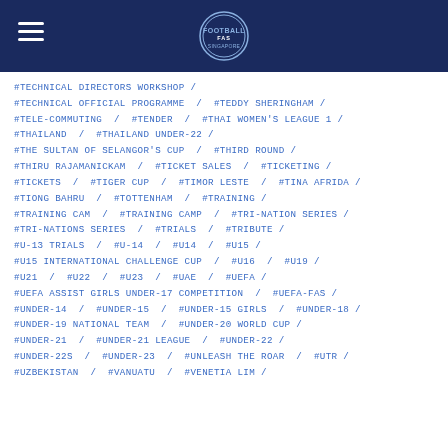Football Association of Singapore
#TECHNICAL DIRECTORS WORKSHOP / #TECHNICAL OFFICIAL PROGRAMME / #TEDDY SHERINGHAM / #TELE-COMMUTING / #TENDER / #THAI WOMEN'S LEAGUE 1 / #THAILAND / #THAILAND UNDER-22 / #THE SULTAN OF SELANGOR'S CUP / #THIRD ROUND / #THIRU RAJAMANICKAM / #TICKET SALES / #TICKETING / #TICKETS / #TIGER CUP / #TIMOR LESTE / #TINA AFRIDA / #TIONG BAHRU / #TOTTENHAM / #TRAINING / #TRAINING CAM / #TRAINING CAMP / #TRI-NATION SERIES / #TRI-NATIONS SERIES / #TRIALS / #TRIBUTE / #U-13 TRIALS / #U-14 / #U14 / #U15 / #U15 INTERNATIONAL CHALLENGE CUP / #U16 / #U19 / #U21 / #U22 / #U23 / #UAE / #UEFA / #UEFA ASSIST GIRLS UNDER-17 COMPETITION / #UEFA-FAS / #UNDER-14 / #UNDER-15 / #UNDER-15 GIRLS / #UNDER-18 / #UNDER-19 NATIONAL TEAM / #UNDER-20 WORLD CUP / #UNDER-21 / #UNDER-21 LEAGUE / #UNDER-22 / #UNDER-22S / #UNDER-23 / #UNLEASH THE ROAR / #UTR / #UZBEKISTAN / #VANUATU / #VENETIA LIM /